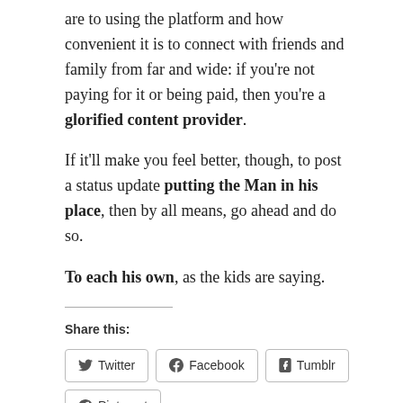are to using the platform and how convenient it is to connect with friends and family from far and wide: if you're not paying for it or being paid, then you're a glorified content provider.
If it'll make you feel better, though, to post a status update putting the Man in his place, then by all means, go ahead and do so.
To each his own, as the kids are saying.
Share this:
[Figure (other): Share buttons row: Twitter, Facebook, Tumblr, Pinterest, Pocket, More]